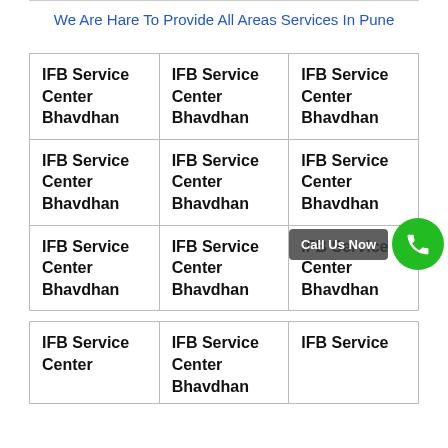We Are Hare To Provide All Areas Services In Pune
| IFB Service Center Bhavdhan | IFB Service Center Bhavdhan | IFB Service Center Bhavdhan |
| IFB Service Center Bhavdhan | IFB Service Center Bhavdhan | IFB Service Center Bhavdhan |
| IFB Service Center Bhavdhan | IFB Service Center Bhavdhan | IFB Service Center Bhavdhan |
| IFB Service Center | IFB Service Center Bhavdhan | IFB Service |